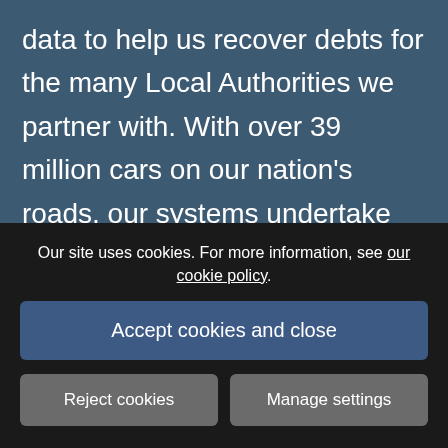data to help us recover debts for the many Local Authorities we partner with. With over 39 million cars on our nation's roads, our systems undertake checks including DVLA Registered Keeper and HPI Verification checks quickly to identify repeat offenders or establish a customer's ability to pay their debt. This intelligent, data-driven approach has been
Our site uses cookies. For more information, see our cookie policy.
Accept cookies and close
Reject cookies
Manage settings